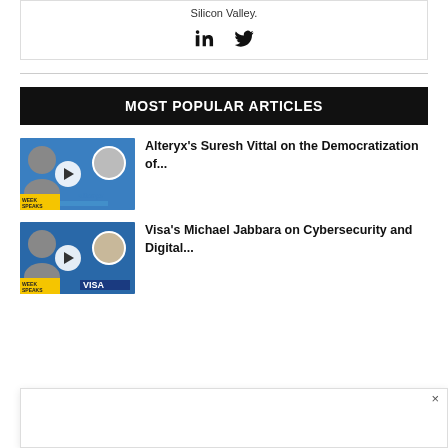Silicon Valley.
[Figure (other): LinkedIn and Twitter social media icons]
MOST POPULAR ARTICLES
[Figure (photo): Thumbnail for Alteryx Week Speaks episode with play button overlay]
Alteryx's Suresh Vittal on the Democratization of...
[Figure (photo): Thumbnail for Visa Week Speaks episode with play button overlay]
Visa's Michael Jabbara on Cybersecurity and Digital...